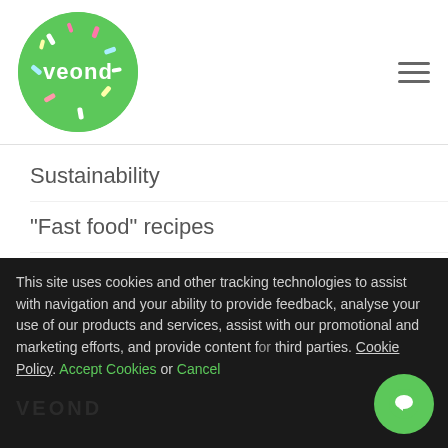[Figure (logo): Veond logo: green circle with white text 'veond' and colorful sprinkles]
Sustainability
"Fast food" recipes
"No fish" recipes
Portuguese Vegan Tapas
Sweet recipes
Blog
This site uses cookies and other tracking technologies to assist with navigation and your ability to provide feedback, analyse your use of our products and services, assist with our promotional and marketing efforts, and provide content for third parties. Cookie Policy. Accept Cookies or Cancel